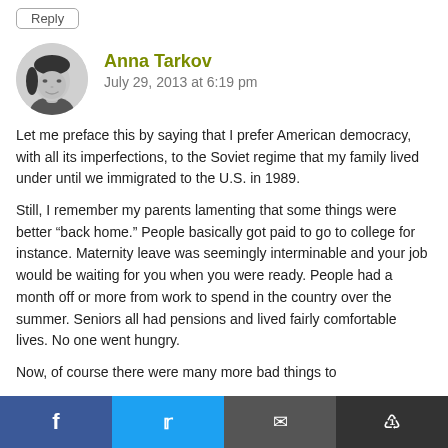Reply
Anna Tarkov
July 29, 2013 at 6:19 pm
Let me preface this by saying that I prefer American democracy, with all its imperfections, to the Soviet regime that my family lived under until we immigrated to the U.S. in 1989.
Still, I remember my parents lamenting that some things were better “back home.” People basically got paid to go to college for instance. Maternity leave was seemingly interminable and your job would be waiting for you when you were ready. People had a month off or more from work to spend in the country over the summer. Seniors all had pensions and lived fairly comfortable lives. No one went hungry.
Now, of course there were many more bad things to